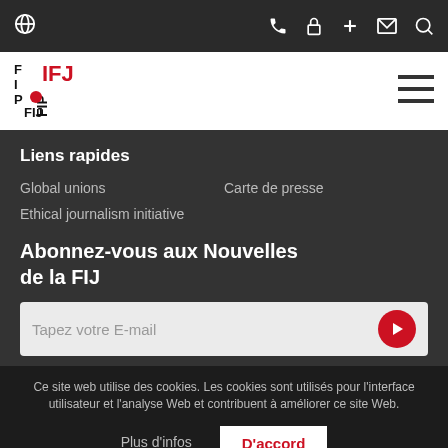IFJ navigation bar with globe, phone, lock, plus, mail, search icons and hamburger menu
[Figure (logo): IFJ FIJ logo — red and black stacked letters]
Liens rapides
Global unions
Carte de presse
Ethical journalism initiative
Abonnez-vous aux Nouvelles de la FIJ
Tapez votre E-mail
Ce site web utilise des cookies. Les cookies sont utilisés pour l'interface utilisateur et l'analyse Web et contribuent à améliorer ce site Web.
Plus d'infos
D'accord